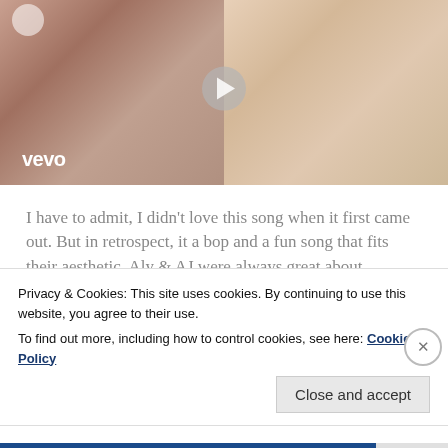[Figure (screenshot): Vevo music video thumbnail showing two female artists side by side with a play button in the center and the Vevo logo in the bottom left corner.]
I have to admit, I didn't love this song when it first came out. But in retrospect, it a bop and a fun song that fits their aesthetic. Aly & AJ were always great about explaining emotions so vividly and intensely
Privacy & Cookies: This site uses cookies. By continuing to use this website, you agree to their use.
To find out more, including how to control cookies, see here: Cookie Policy
Close and accept